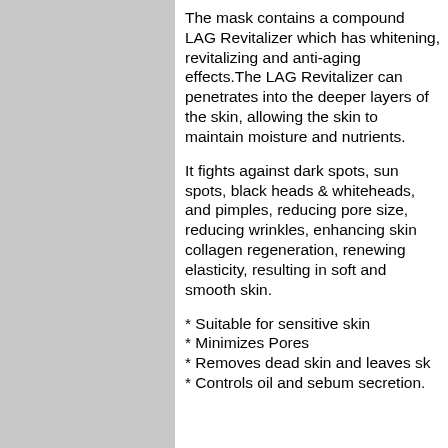The mask contains a compound LAG Revitalizer which has whitening, revitalizing and anti-aging effects.The LAG Revitalizer can penetrates into the deeper layers of the skin, allowing the skin to maintain moisture and nutrients.
It fights against dark spots, sun spots, black heads & whiteheads, and pimples, reducing pore size, reducing wrinkles, enhancing skin collagen regeneration, renewing elasticity, resulting in soft and smooth skin.
* Suitable for sensitive skin
* Minimizes Pores
* Removes dead skin and leaves sk
* Controls oil and sebum secretion.